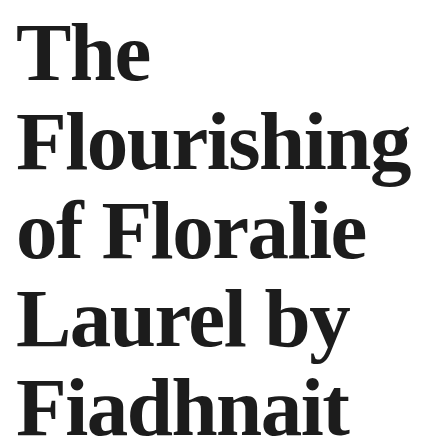The Flourishing of Floralie Laurel by Fiadhnait M